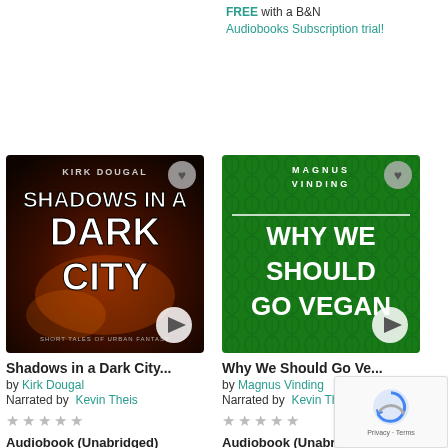FREE with a B&N Audiobooks Subscription trial!
[Figure (illustration): Book cover for 'Shadows in a Dark City' by Kirk Dougal — dark urban fantasy with fire and grunge text]
[Figure (illustration): Book cover for 'Why We Should Go Vegan' by Magnus Vinding — green patterned background with white text]
Shadows in a Dark City...
Why We Should Go Ve...
by Kirk Dougal
by Magnus Vinding
Narrated by  Kevin Theis
Narrated by  Kevin Theis
★★★★★
★★★★★
Audiobook (Unabridged)
Audiobook (Unabridged)
$4.49  $4.95
$3.00  OR
OR
FREE with a B&N
FREE with a B&N
Audiobooks Subscription trial!